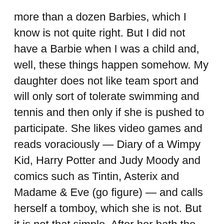more than a dozen Barbies, which I know is not quite right. But I did not have a Barbie when I was a child and, well, these things happen somehow. My daughter does not like team sport and will only sort of tolerate swimming and tennis and then only if she is pushed to participate. She likes video games and reads voraciously — Diary of a Wimpy Kid, Harry Potter and Judy Moody and comics such as Tintin, Asterix and Madame & Eve (go figure) — and calls herself a tomboy, which she is not. But it is not that simple. After her bath the other night, I fished out a silver tiara, a Dragon Ball Z action figure, a tiny soft pink bunny and a plastic snake.
Daughter
I grew up in Los Angeles. My parents, both dentists with their own practice, were well off and when we